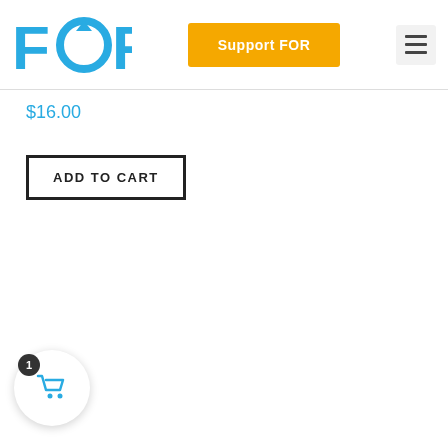[Figure (logo): FOR logo in blue with circular arrow icon]
[Figure (other): Support FOR yellow button]
[Figure (other): Hamburger menu icon]
$16.00
ADD TO CART
[Figure (other): Shopping cart bubble with badge showing 1]